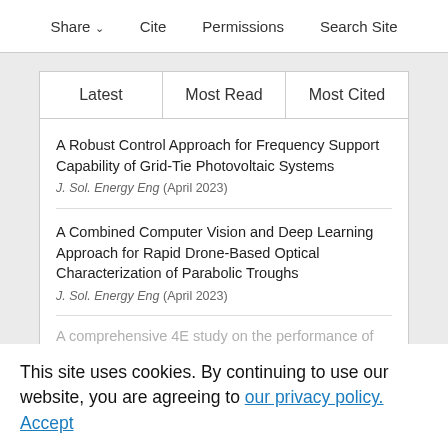Share  Cite  Permissions  Search Site
| Latest | Most Read | Most Cited |
| --- | --- | --- |
A Robust Control Approach for Frequency Support Capability of Grid-Tie Photovoltaic Systems
J. Sol. Energy Eng (April 2023)
A Combined Computer Vision and Deep Learning Approach for Rapid Drone-Based Optical Characterization of Parabolic Troughs
J. Sol. Energy Eng (April 2023)
A comprehensive 4E study on the performance of Bifacial solar module
This site uses cookies. By continuing to use our website, you are agreeing to our privacy policy. Accept